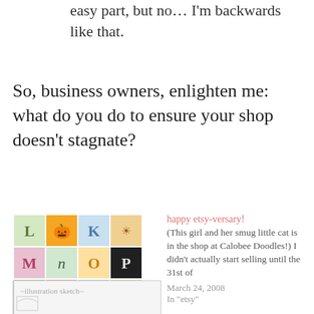easy part, but no… I'm backwards like that.
So, business owners, enlighten me: what do you do to ensure your shop doesn't stagnate?
[Figure (photo): Grid of alphabet/themed illustrated tiles (letters L, K, M, n, O, P, Q, R, S, T with Halloween and nature themed art)]
yay for free stuff!
November 23, 2009
In "etsy"
happy etsy-versary!
(This girl and her smug little cat is in the shop at Calobee Doodles!) I didn't actually start selling until the 31st of
March 24, 2008
In "etsy"
[Figure (illustration): Partial illustration/sketch visible at bottom of page]